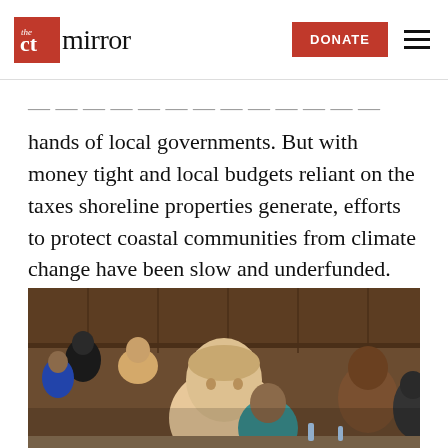The CT Mirror — DONATE
hands of local governments. But with money tight and local budgets reliant on the taxes shoreline properties generate, efforts to protect coastal communities from climate change have been slow and underfunded. Some communities, however, are making more progress than others.
[Figure (photo): People seated in what appears to be a legislative chamber with wooden paneling. A young man with light hair is visible prominently in the foreground.]